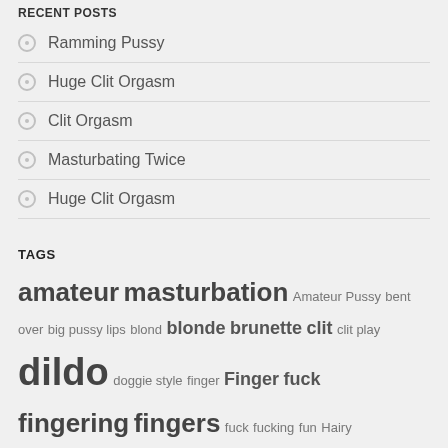RECENT POSTS
Ramming Pussy
Huge Clit Orgasm
Clit Orgasm
Masturbating Twice
Huge Clit Orgasm
TAGS
amateur masturbation Amateur Pussy bent over big pussy lips blond blonde brunette clit clit play dildo doggie style finger Finger fuck fingering fingers fuck fucking fun Hairy masturbate masturbates masturbating Masturbation